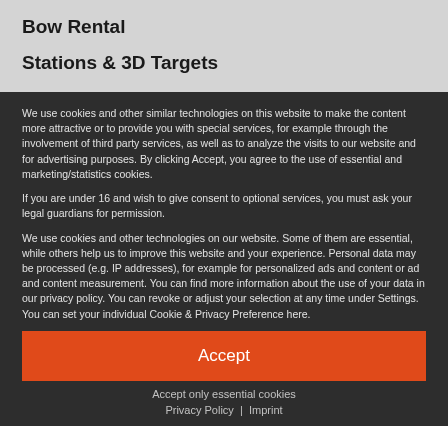Bow Rental
Stations & 3D Targets
We use cookies and other similar technologies on this website to make the content more attractive or to provide you with special services, for example through the involvement of third party services, as well as to analyze the visits to our website and for advertising purposes. By clicking Accept, you agree to the use of essential and marketing/statistics cookies.
If you are under 16 and wish to give consent to optional services, you must ask your legal guardians for permission.
We use cookies and other technologies on our website. Some of them are essential, while others help us to improve this website and your experience. Personal data may be processed (e.g. IP addresses), for example for personalized ads and content or ad and content measurement. You can find more information about the use of your data in our privacy policy. You can revoke or adjust your selection at any time under Settings. You can set your individual Cookie & Privacy Preference here.
Accept
Accept only essential cookies
Privacy Policy  |  Imprint